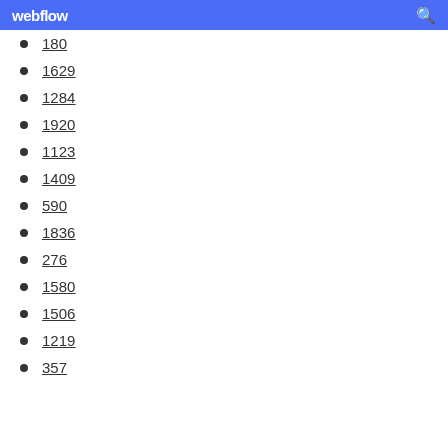webflow
180
1629
1284
1920
1123
1409
590
1836
276
1580
1506
1219
357